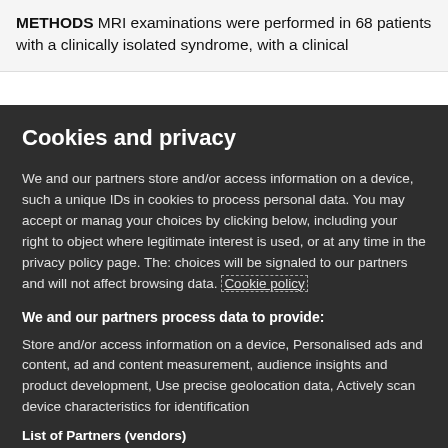METHODS MRI examinations were performed in 68 patients with a clinically isolated syndrome, with a clinical
Cookies and privacy
We and our partners store and/or access information on a device, such a unique IDs in cookies to process personal data. You may accept or manage your choices by clicking below, including your right to object where legitimate interest is used, or at any time in the privacy policy page. These choices will be signaled to our partners and will not affect browsing data. Cookie policy
We and our partners process data to provide:
Store and/or access information on a device, Personalised ads and content, ad and content measurement, audience insights and product development, Use precise geolocation data, Actively scan device characteristics for identification
List of Partners (vendors)
I Accept